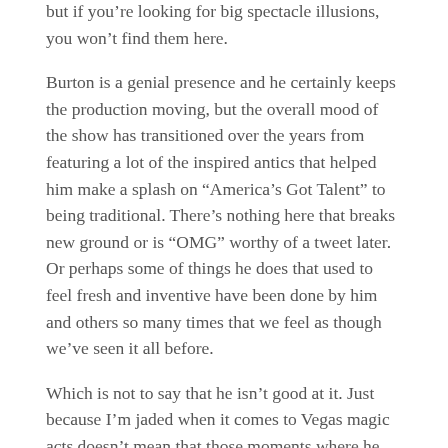but if you're looking for big spectacle illusions, you won't find them here.
Burton is a genial presence and he certainly keeps the production moving, but the overall mood of the show has transitioned over the years from featuring a lot of the inspired antics that helped him make a splash on “America’s Got Talent” to being traditional. There’s nothing here that breaks new ground or is “OMG” worthy of a tweet later. Or perhaps some of things he does that used to feel fresh and inventive have been done by him and others so many times that we feel as though we’ve seen it all before.
Which is not to say that he isn’t good at it. Just because I’m jaded when it comes to Vegas magic acts doesn’t mean that those moments where he pulls up a drape and then drops it to reveal a person that wasn’t there a split-second ago aren’t still fundamentally impressive. It’s just that one of the keys of effective magic is the